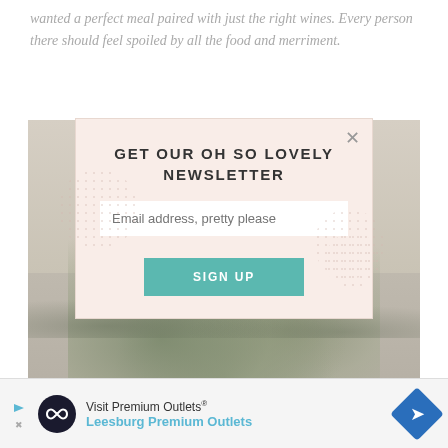wanted a perfect meal paired with just the right wines. Every person there should feel spoiled by all the food and merriment.
[Figure (photo): Background photo of floral/greenery table arrangement in muted beige and green tones, partially obscured by a newsletter signup modal overlay]
GET OUR OH SO LOVELY NEWSLETTER
Email address, pretty please
SIGN UP
[Figure (infographic): Advertisement banner for Leesburg Premium Outlets with circular logo, navigation arrow icon, and text 'Visit Premium Outlets® Leesburg Premium Outlets']